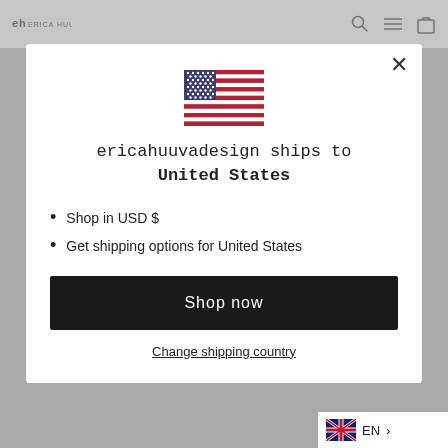[Figure (screenshot): Website navigation bar with logo 'eh ERICA HUUVA' on the left and icons (search, menu, cart) on the right]
[Figure (illustration): United States flag emoji/illustration]
ericahuuvadesign ships to United States
Shop in USD $
Get shipping options for United States
Shop now
Change shipping country
[Figure (illustration): UK flag icon with EN language selector and arrow at bottom right]